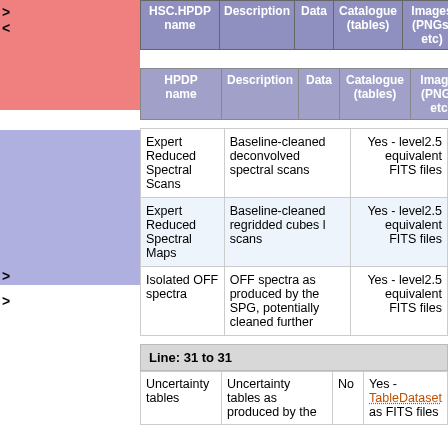| HSC.HPDP name | Description | Data | Catalogue (tables) | Images (PNGs, etc) |
| --- | --- | --- | --- | --- |
|  |  |  |  |  |
| HPDP name | Description | Data | Catalogue (tables) | Images (PNGs, etc) |
| --- | --- | --- | --- | --- |
|  |  |  |  |  |
| Expert Reduced Spectral Scans | Baseline-cleaned deconvolved spectral scans |  |  | Yes - level2.5 equivalent FITS files |
| Expert Reduced Spectral Maps | Baseline-cleaned regridded cubes l scans |  |  | Yes - level2.5 equivalent FITS files |
| Isolated OFF spectra | OFF spectra as produced by the SPG, potentially cleaned further |  |  | Yes - level2.5 equivalent FITS files |
Line: 31 to 31
| Uncertainty tables | Uncertainty tables as produced by the | No | Yes - TableDataset as FITS files |  |